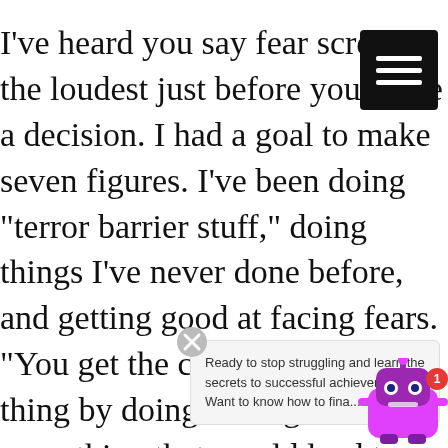I've heard you say fear screams the loudest just before you make a decision. I had a goal to make seven figures. I've been doing "terror barrier stuff," doing things I've never done before, and getting good at facing fears. "You get the courage to do the thing by doing a thing." I did everything that would lead to making seven figures.
But if I'm hon... [tooltip overlaps] ...would actually occur. I wasn't worried about it...
[Figure (screenshot): A tooltip/chat widget popup with text: 'Ready to stop struggling and learn the secrets to successful achievement??? Want to know how to fina...' with a close (X) button and a purple robot chatbot icon with a notification badge showing '1'.]